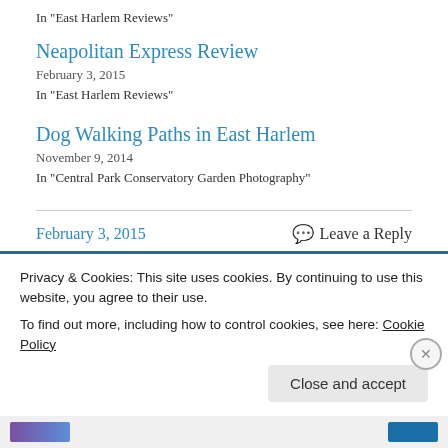In "East Harlem Reviews"
Neapolitan Express Review
February 3, 2015
In "East Harlem Reviews"
Dog Walking Paths in East Harlem
November 9, 2014
In "Central Park Conservatory Garden Photography"
February 3, 2015    Leave a Reply
Privacy & Cookies: This site uses cookies. By continuing to use this website, you agree to their use. To find out more, including how to control cookies, see here: Cookie Policy
Close and accept